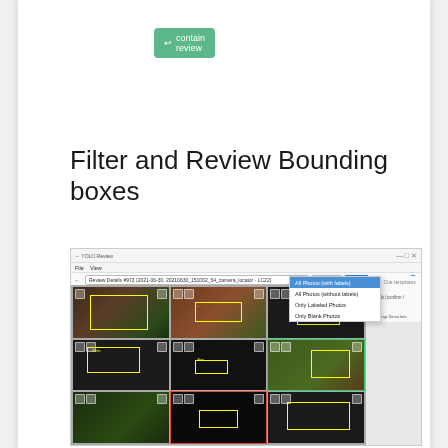[Figure (screenshot): A green 'contain review' button in the top area of the page]
Filter and Review Bounding boxes
[Figure (screenshot): Screenshot of YOLO Review application showing a grid of camera trap photos with yellow bounding boxes around animals. A dropdown filter menu is open showing options: All Photos (with labels), All Photos (without labels), Only Labeled Photos, Only Blank Photos. The interface has a toolbar with Options and Filter buttons.]